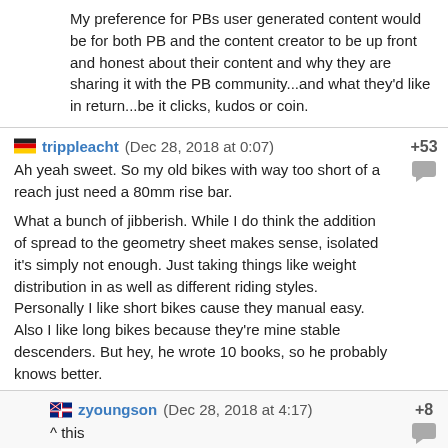My preference for PBs user generated content would be for both PB and the content creator to be up front and honest about their content and why they are sharing it with the PB community...and what they'd like in return...be it clicks, kudos or coin.
trippleacht (Dec 28, 2018 at 0:07) +53
Ah yeah sweet. So my old bikes with way too short of a reach just need a 80mm rise bar.

What a bunch of jibberish. While I do think the addition of spread to the geometry sheet makes sense, isolated it's simply not enough. Just taking things like weight distribution in as well as different riding styles. Personally I like short bikes cause they manual easy. Also I like long bikes because they're mine stable descenders. But hey, he wrote 10 books, so he probably knows better.
zyoungson (Dec 28, 2018 at 4:17) +8
^ this
AntN (Dec 27, 2018 at 23:56) +51
42
Shiny-side-up (Dec 28, 2018 at 3:08) +1